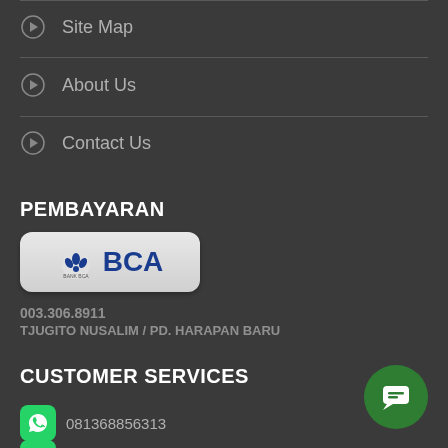Site Map
About Us
Contact Us
PEMBAYARAN
[Figure (logo): BCA bank logo badge with blue BCA text and leaf icon on light grey rounded rectangle background]
003.306.8911
TJUGITO NUSALIM / PD. HARAPAN BARU
CUSTOMER SERVICES
081368856313